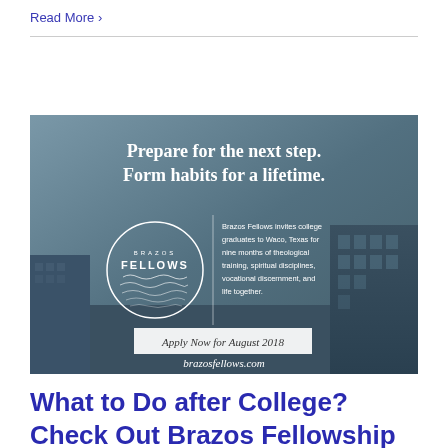Read More >
[Figure (illustration): Brazos Fellows advertisement banner with headline 'Prepare for the next step. Form habits for a lifetime.' featuring a circle logo with 'BRAZOS FELLOWS' text and landscape illustration, descriptive body text, 'Apply Now for August 2018' button, and 'brazosfellows.com' URL, set against a muted cityscape background.]
What to Do after College? Check Out Brazos Fellowship